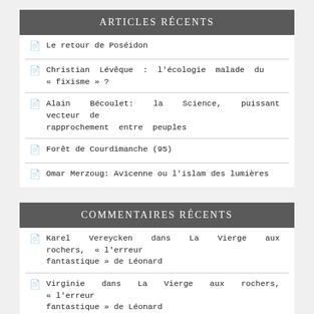ARTICLES RÉCENTS
Le retour de Poséidon
Christian Lévêque : l'écologie malade du « fixisme » ?
Alain Bécoulet: la Science, puissant vecteur de rapprochement entre peuples
Forêt de Courdimanche (95)
Omar Merzoug: Avicenne ou l'islam des lumières
COMMENTAIRES RÉCENTS
Karel Vereycken dans La Vierge aux rochers, « l'erreur fantastique » de Léonard
Virginie dans La Vierge aux rochers, « l'erreur fantastique » de Léonard